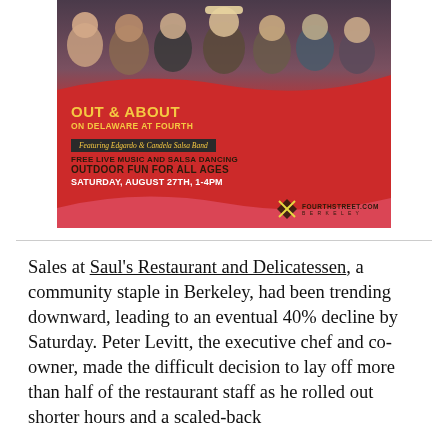[Figure (photo): Advertisement for 'Out & About on Delaware at Fourth' event featuring Edgardo & Candela Salsa Band. Red and dark background with group photo of band members at top. Text reads: OUT & ABOUT ON DELAWARE AT FOURTH / Featuring Edgardo & Candela Salsa Band / FREE LIVE MUSIC AND SALSA DANCING / OUTDOOR FUN FOR ALL AGES / SATURDAY, AUGUST 27TH, 1-4PM. FourthStreet.com Berkeley logo in bottom right.]
Sales at Saul's Restaurant and Delicatessen, a community staple in Berkeley, had been trending downward, leading to an eventual 40% decline by Saturday. Peter Levitt, the executive chef and co-owner, made the difficult decision to lay off more than half of the restaurant staff as he rolled out shorter hours and a scaled-back